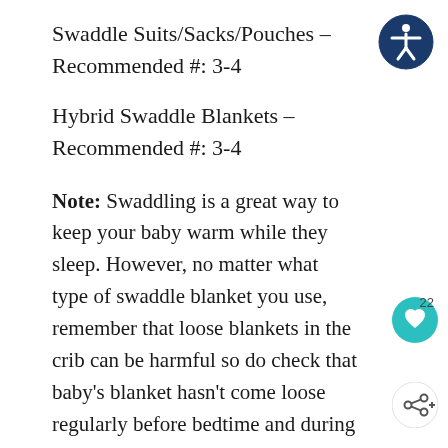Swaddle Suits/Sacks/Pouches – Recommended #: 3-4
Hybrid Swaddle Blankets – Recommended #: 3-4
Note: Swaddling is a great way to keep your baby warm while they sleep. However, no matter what type of swaddle blanket you use, remember that loose blankets in the crib can be harmful so do check that baby's blanket hasn't come loose regularly before bedtime and during nighttime diaper changes.
[Figure (illustration): Accessibility icon: dark blue circle with white human figure with arms outstretched]
[Figure (illustration): Teal heart/love icon button]
[Figure (illustration): Share icon button]